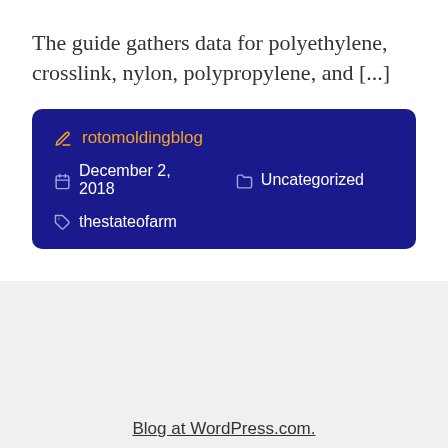The guide gathers data for polyethylene, crosslink, nylon, polypropylene, and [...]
rotomoldingblog | December 2, 2018 | Uncategorized | thestateofarm
Blog at WordPress.com.